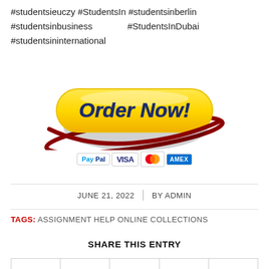#studentsieuczy #StudentsIn #studentsinberlin #studentsinbusiness #StudentsInDubai #studentsininternational
[Figure (illustration): Yellow 'Order Now!' button with dark red swirl decoration and payment icons (PayPal, VISA, Mastercard, Amex) below]
JUNE 21, 2022  |  BY ADMIN
TAGS: ASSIGNMENT HELP ONLINE COLLECTIONS
SHARE THIS ENTRY